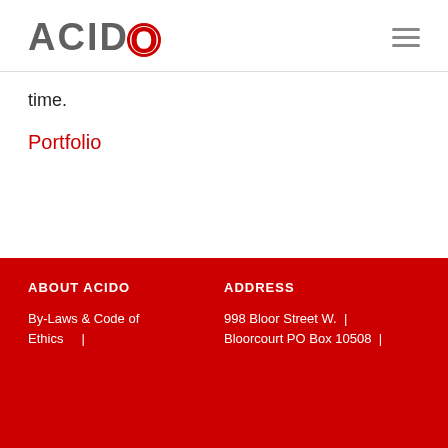ACIDO
time.
Portfolio
ABOUT ACIDO | By-Laws & Code of Ethics | ADDRESS | 998 Bloor Street W. | Bloorcourt PO Box 10508 |